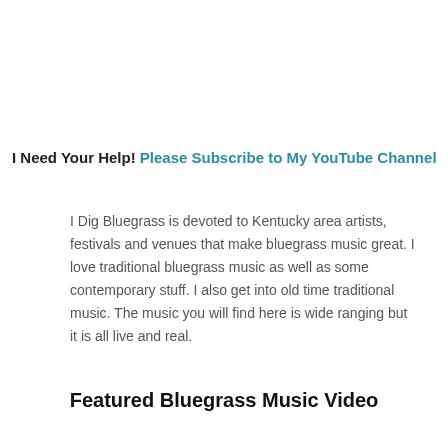I Need Your Help! Please Subscribe to My YouTube Channel
I Dig Bluegrass is devoted to Kentucky area artists, festivals and venues that make bluegrass music great. I love traditional bluegrass music as well as some contemporary stuff. I also get into old time traditional music. The music you will find here is wide ranging but it is all live and real.
Featured Bluegrass Music Video